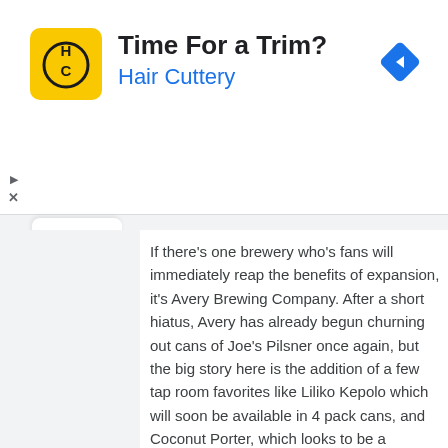[Figure (logo): Hair Cuttery advertisement banner with yellow HC logo, title 'Time For a Trim?', subtitle 'Hair Cuttery', and a blue diamond navigation icon]
If there’s one brewery who’s fans will immediately reap the benefits of expansion, it’s Avery Brewing Company. After a short hiatus, Avery has already begun churning out cans of Joe’s Pilsner once again, but the big story here is the addition of a few tap room favorites like Liliko Kepolo which will soon be available in 4 pack cans, and Coconut Porter, which looks to be a bourbon barrel-aged spin off. Fans will also see several new surprises like Vanilla Bean Stout, Rasperry Sour, a Peach Saison, a new double IPA named Raja along with their already success lineup of core beers. In the immortal words of Samuel L Jackson, “Hold on to your butts!”